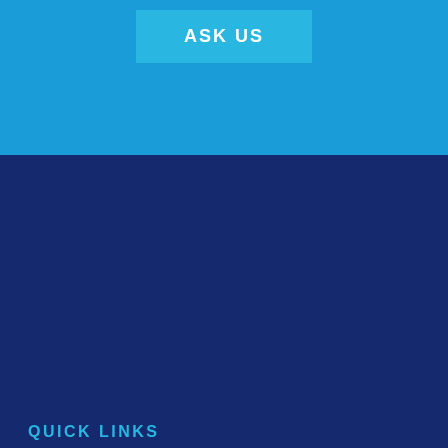[Figure (other): Button with text ASK US on a light blue background]
QUICK LINKS
HOME
GENERATORS
SOLAR SOLUTIONS
ENERGY EFFICIENCY